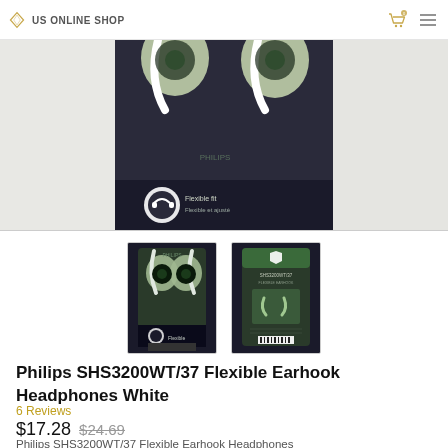US ONLINE SHOP
[Figure (photo): Main product photo: Philips SHS3200WT/37 earhook headphones in green/white packaging, front view in blister pack]
[Figure (photo): Thumbnail 1: Front of Philips earhook headphones in dark packaging]
[Figure (photo): Thumbnail 2: Back of Philips earhook headphones packaging]
Philips SHS3200WT/37 Flexible Earhook Headphones White
6 Reviews
$17.28 $24.69
Philips SHS3200WT/37 Flexible Earhook Headphones